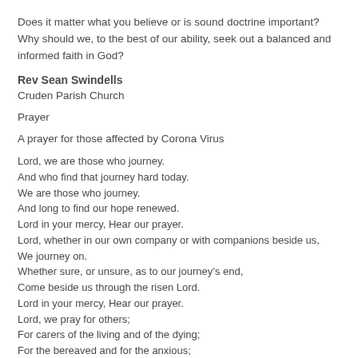Does it matter what you believe or is sound doctrine important? Why should we, to the best of our ability, seek out a balanced and informed faith in God?
Rev Sean Swindells
Cruden Parish Church
Prayer
A prayer for those affected by Corona Virus
Lord, we are those who journey.
And who find that journey hard today.
We are those who journey.
And long to find our hope renewed.
Lord in your mercy, Hear our prayer.
Lord, whether in our own company or with companions beside us,
We journey on.
Whether sure, or unsure, as to our journey’s end,
Come beside us through the risen Lord.
Lord in your mercy, Hear our prayer.
Lord, we pray for others;
For carers of the living and of the dying;
For the bereaved and for the anxious;